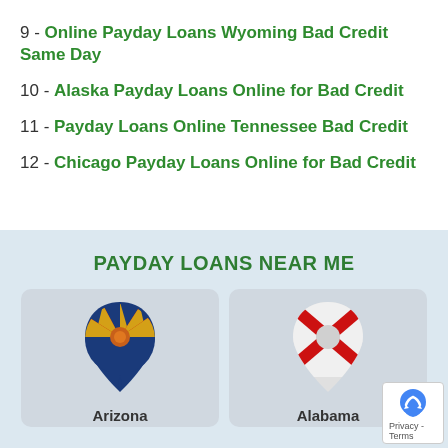9 - Online Payday Loans Wyoming Bad Credit Same Day
10 - Alaska Payday Loans Online for Bad Credit
11 - Payday Loans Online Tennessee Bad Credit
12 - Chicago Payday Loans Online for Bad Credit
PAYDAY LOANS NEAR ME
[Figure (illustration): Arizona state flag location pin icon]
[Figure (illustration): Alabama state flag location pin icon]
Arizona
Alabama